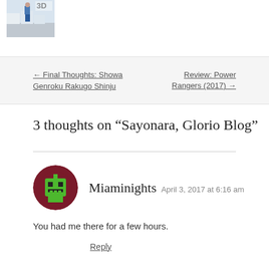[Figure (photo): Small thumbnail image showing a person in blue jeans near white structures, with a partially visible '3D' watermark overlay]
← Final Thoughts: Showa Genroku Rakugo Shinju
Review: Power Rangers (2017) →
3 thoughts on “Sayonara, Glorio Blog”
[Figure (illustration): Circular avatar with dark red/maroon border and green pixel-art robot/character icon in center]
Miaminights  April 3, 2017 at 6:16 am
You had me there for a few hours.
Reply